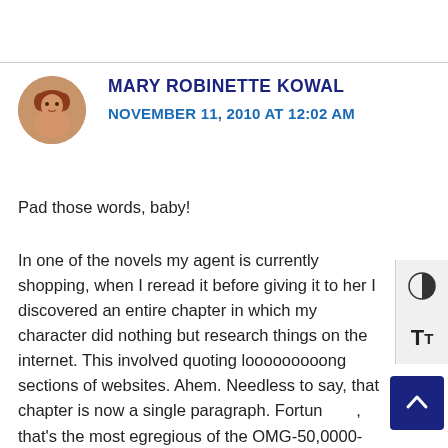[Figure (photo): Circular avatar photo of a woman with curly reddish-brown hair]
MARY ROBINETTE KOWAL
NOVEMBER 11, 2010 AT 12:02 AM
Pad those words, baby!
In one of the novels my agent is currently shopping, when I reread it before giving it to her I discovered an entire chapter in which my character did nothing but research things on the internet. This involved quoting looooooooong sections of websites. Ahem. Needless to say, that chapter is now a single paragraph. Fortunately, that's the most egregious of the OMG-50,0000-words offenses in that particular project.